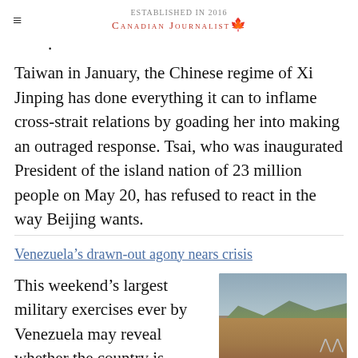≡  CANADIAN JOURNALIST 🍁
Taiwan in January, the Chinese regime of Xi Jinping has done everything it can to inflame cross-strait relations by goading her into making an outraged response. Tsai, who was inaugurated President of the island nation of 23 million people on May 20, has refused to react in the way Beijing wants.
Venezuela's drawn-out agony nears crisis
This weekend's largest military exercises ever by Venezuela may reveal whether the country is heading merely for an
[Figure (photo): Aerial view of a densely populated hillside city, likely in Latin America, with mountains in the background]